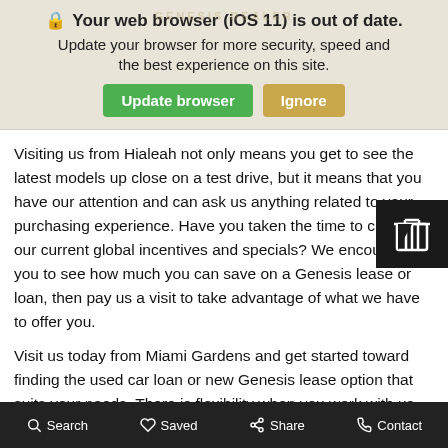[Figure (screenshot): Browser update notification banner with title 'Your web browser (iOS 11) is out of date.', subtitle 'Update your browser for more security, speed and the best experience on this site.', and two buttons: 'Update browser' (green) and 'Ignore' (gold/tan).]
Visiting us from Hialeah not only means you get to see the latest models up close on a test drive, but it means that you have our attention and can ask us anything related to your purchasing experience. Have you taken the time to check out our current global incentives and specials? We encourage you to see how much you can save on a Genesis lease or loan, then pay us a visit to take advantage of what we have to offer you.
Visit us today from Miami Gardens and get started toward finding the used car loan or new Genesis lease option that suits your needs. There is flexibility when you work with us, and you can even apply for financing online because we know that you
Search   Saved   Share   Contact